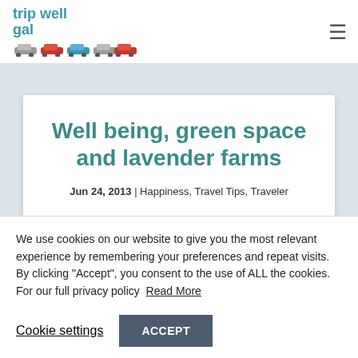trip well gal
Well being, green space and lavender farms
Jun 24, 2013 | Happiness, Travel Tips, Traveler
We use cookies on our website to give you the most relevant experience by remembering your preferences and repeat visits. By clicking “Accept”, you consent to the use of ALL the cookies. For our full privacy policy  Read More
Cookie settings
ACCEPT